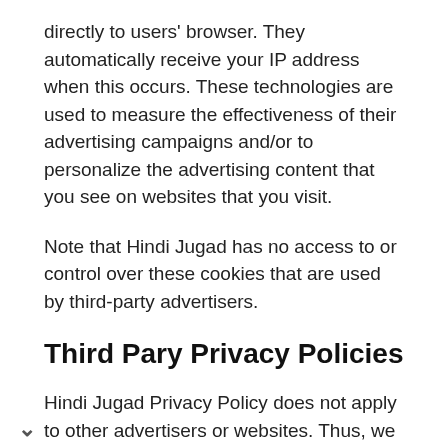directly to users' browser. They automatically receive your IP address when this occurs. These technologies are used to measure the effectiveness of their advertising campaigns and/or to personalize the advertising content that you see on websites that you visit.
Note that Hindi Jugad has no access to or control over these cookies that are used by third-party advertisers.
Third Pary Privacy Policies
Hindi Jugad Privacy Policy does not apply to other advertisers or websites. Thus, we are advising you to consult the respective Privacy Policies of these third- ad servers for more detailed information. It may